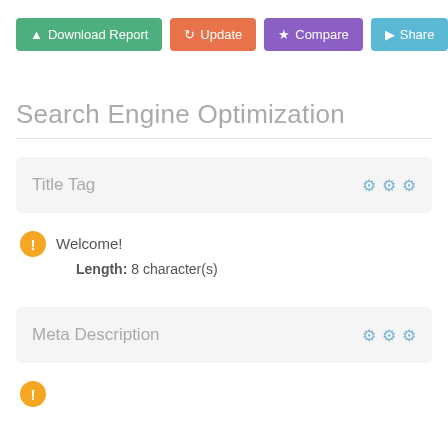Download Report | Update | Compare | Share
Search Engine Optimization
Title Tag
Welcome!
Length: 8 character(s)
Meta Description